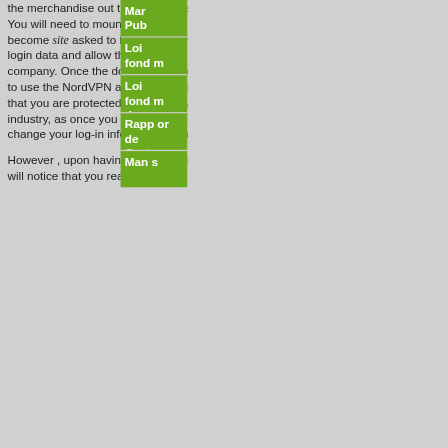the merchandise out through the use of their free edition. You will need to mount the product earliest. You will then become site asked to log in. This will require you to enter the login data and allow the request to use the NordVPN company. Once the documentation is approved, it is possible to use the NordVPN assistance at no cost. This also means that you are protected from your ever-changing internet industry, as once you log into the service, that people change your log-in information or perhaps block that.
However , upon having taken the time to try NordVPN, you will notice that you really are a real NordVPN customer and you will probably locate your favorite features. NordVPN enables you to purchase the merchandise. However , you will notice that there are a number of limitations. You are able to only access the site and the paid release of the services, and you can just access the paid adaptation of the service if you have a PayPal account. If you have virtually any problems in trying to get the paid out version
Mar… Pub… s
Loi fond…m… des mun…ipi…
Loi fond…m… des mun…ipi…
Rapp…or… de Gest…on Envi…on… et Socia…e
Man… s